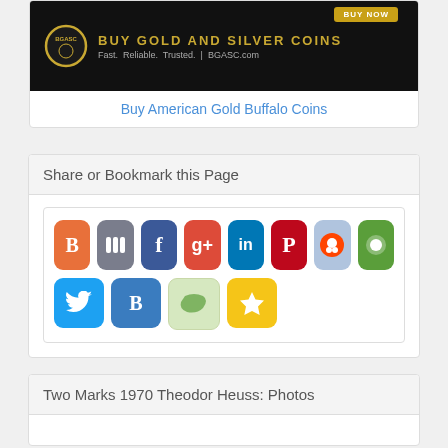[Figure (illustration): BGASC Buy Gold and Silver Coins advertisement banner showing gold coins, Buy Now button, BGASC logo, and tagline Fast. Reliable. Trusted. BGASC.com]
Buy American Gold Buffalo Coins
Share or Bookmark this Page
[Figure (infographic): Social media sharing icons: Blogger, StumbleUpon, Facebook, Google+, LinkedIn, Pinterest, Reddit, Meneame (row 1); Twitter, BlogMarks, Diigo, Favorites (row 2)]
Two Marks 1970 Theodor Heuss: Photos